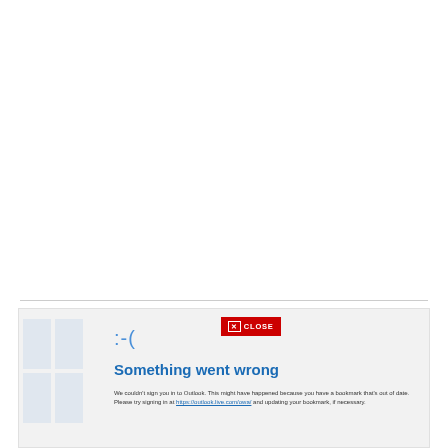[Figure (screenshot): White empty area representing top portion of a web page]
[Figure (screenshot): Error dialog panel with light gray background showing 'Something went wrong' message from Outlook sign-in error, with a red CLOSE button, blue sad face emoticon :-(, blue heading 'Something went wrong', and error text explaining the sign-in failure with a link to https://outlook.live.com/owa/]